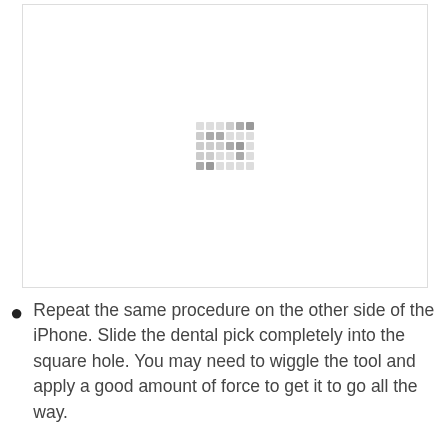[Figure (photo): A mostly blank white image box with a small dot-grid pattern (loading placeholder) centered in the middle of the box.]
Repeat the same procedure on the other side of the iPhone. Slide the dental pick completely into the square hole. You may need to wiggle the tool and apply a good amount of force to get it to go all the way.